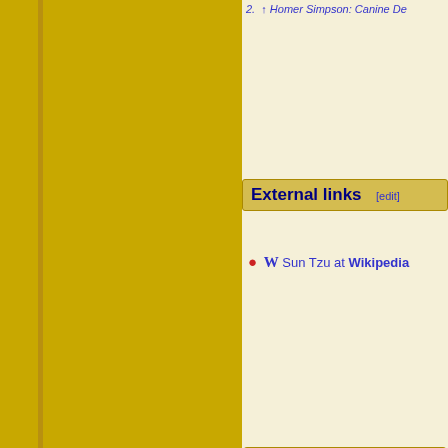2. ↑ Homer Simpson: Canine De…
External links [edit]
W Sun Tzu at Wikipedia
view · talk · edit · past   Authors
view · talk · edit · past   Real-world deceased characters
view · talk · edit · past   The Simpsons characters
Categories: Characters | Male char… | Authors | Real-world characters | Real-world deceased characters | Characters voiced by guest stars | One-time characters